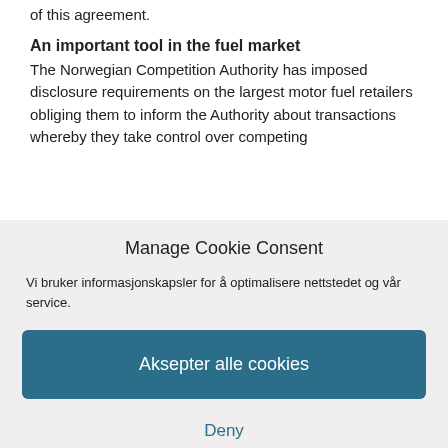of this agreement.
An important tool in the fuel market
The Norwegian Competition Authority has imposed disclosure requirements on the largest motor fuel retailers obliging them to inform the Authority about transactions whereby they take control over competing
Manage Cookie Consent
Vi bruker informasjonskapsler for å optimalisere nettstedet og vår service.
Aksepter alle cookies
Deny
View preferences
Cookie policy   Privacy Declaration